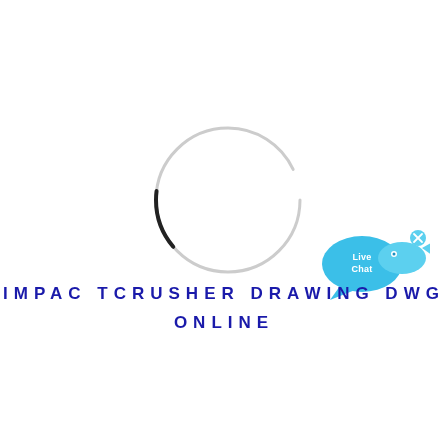[Figure (other): A loading spinner circle graphic — mostly light gray circle outline with a short dark/black arc segment at the bottom, indicating a loading animation in progress.]
[Figure (other): Live Chat button widget — a cyan/light blue speech bubble with the text 'Live Chat' and a small fish/bird icon, with an X close button in the upper right corner.]
IMPAC TCRUSHER DRAWING DWG ONLINE